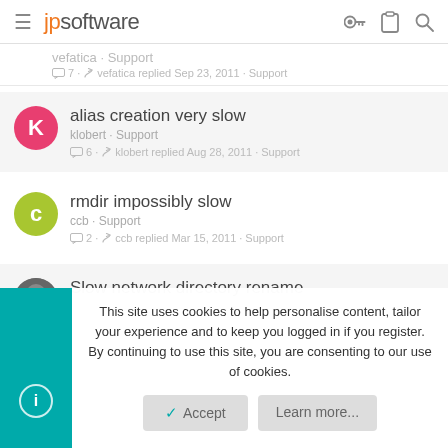jpsoftware
vefatica · Support · 7 · vefatica replied Sep 23, 2011 · Support
alias creation very slow
klobert · Support
6 · klobert replied Aug 28, 2011 · Support
rmdir impossibly slow
ccb · Support
2 · ccb replied Mar 15, 2011 · Support
Slow network directory rename
This site uses cookies to help personalise content, tailor your experience and to keep you logged in if you register. By continuing to use this site, you are consenting to our use of cookies.